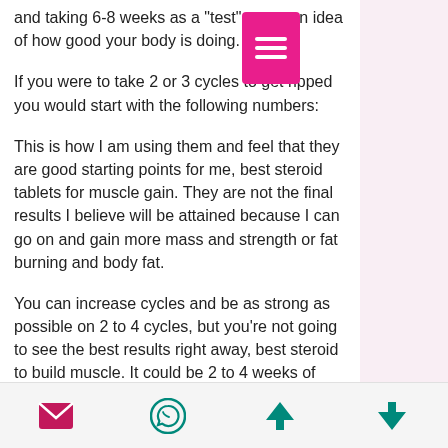and taking 6-8 weeks as a "test" to get an idea of how good your body is doing.
If you were to take 2 or 3 cycles to get ripped you would start with the following numbers:
This is how I am using them and feel that they are good starting points for me, best steroid tablets for muscle gain. They are not the final results I believe will be attained because I can go on and gain more mass and strength or fat burning and body fat.
You can increase cycles and be as strong as possible on 2 to 4 cycles, but you're not going to see the best results right away, best steroid to build muscle. It could be 2 to 4 weeks of good results that you'd like to take advantage of.
[Figure (other): Pink icon with three horizontal white bars (menu/document icon)]
[Figure (other): Bottom navigation bar with email icon (pink), WhatsApp icon (teal), up arrow (teal), down arrow (teal)]